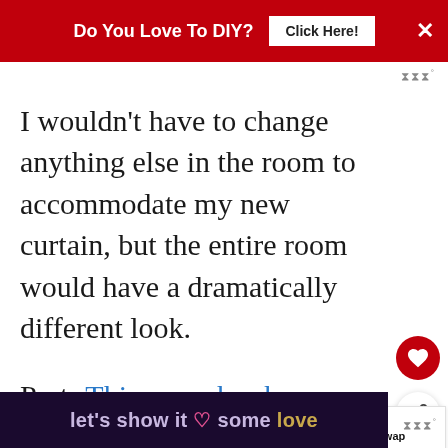Do You Love To DIY?  Click Here!  ×
I wouldn't have to change anything else in the room to accommodate my new curtain, but the entire room would have a dramatically different look.
Psst- This room has been completely renovated. Have you seen the dra… after?
let's show it some love